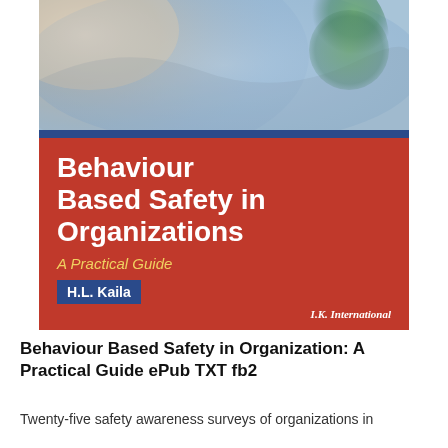[Figure (illustration): Book cover of 'Behaviour Based Safety in Organizations: A Practical Guide' by H.L. Kaila, published by I.K. International. The cover has an abstract colorful art image at the top, a red background with white bold title text, yellow italic subtitle, a blue bar with the author's name in white, and the publisher name in white italic at the bottom right.]
Behaviour Based Safety in Organization: A Practical Guide ePub TXT fb2
Twenty-five safety awareness surveys of organizations in